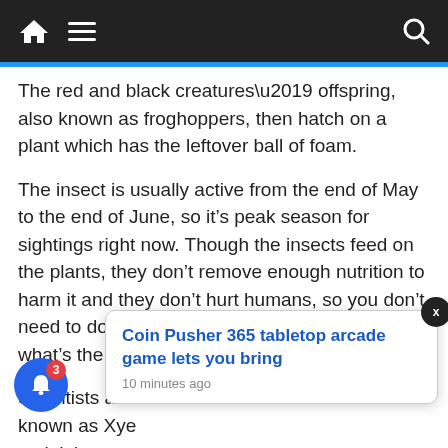Navigation bar with home, menu, and search icons
The red and black creatures’ offspring, also known as froghoppers, then hatch on a plant which has the leftover ball of foam.
The insect is usually active from the end of May to the end of June, so it’s peak season for sightings right now. Though the insects feed on the plants, they don’t remove enough nutrition to harm it and they don’t hurt humans, so you don’t need to do anything to get rid of the spittle. So what’s the harmful bit?
Scientists are [obscured] known as Xye [obscured] pittlebug [obscured] Xyella disease has devastated olive groves in Italy in
[Figure (screenshot): Notification popup: 'Coin Pusher 365 tabletop arcade game lets you bring' with timestamp '10 minutes ago'. Close button (X) top right. Blue circular bell notification button bottom left with badge showing '3'.]